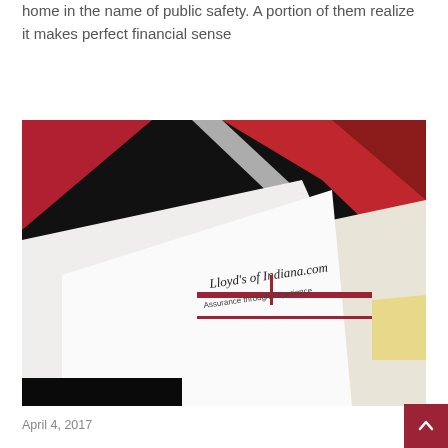home in the name of public safety. A portion of them realize it makes perfect financial sense
Continue reading »
[Figure (photo): Photo of Lloyd's of Indiana branded materials (brochure/folder) with logo reading 'Lloyd's of Indiana.com – Assurance through Experience', shot on a dark background with red geometric design elements]
April 4, 2017